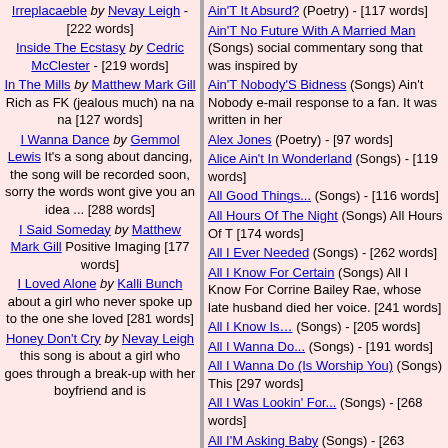Irreplacaeble by Nevay Leigh - [222 words]
Inside The Ecstasy by Cedric McClester - [219 words]
In The Mills by Matthew Mark Gill Rich as FK (jealous much) na na na [127 words]
I Wanna Dance by Gemmol Lewis It's a song about dancing, the song will be recorded soon, sorry the words wont give you an idea ... [288 words]
I Said Someday by Matthew Mark Gill Positive Imaging [177 words]
I Loved Alone by Kalli Bunch about a girl who never spoke up to the one she loved [281 words]
Honey Don't Cry by Nevay Leigh this song is about a girl who goes through a break-up with her boyfriend and is
Ain'T It Absurd? (Poetry) - [117 words]
Ain'T No Future With A Married Man (Songs) social commentary song that was inspired by
Ain'T Nobody'S Bidness (Songs) Ain't Nobody e-mail response to a fan. It was written in her
Alex Jones (Poetry) - [97 words]
Alice Ain't In Wonderland (Songs) - [119 words]
All Good Things... (Songs) - [116 words]
All Hours Of The Night (Songs) All Hours Of T [174 words]
All I Ever Needed (Songs) - [262 words]
All I Know For Certain (Songs) All I Know For Corrine Bailey Rae, whose late husband died her voice. [241 words]
All I Know Is... (Songs) - [205 words]
All I Wanna Do... (Songs) - [191 words]
All I Wanna Do (Is Worship You) (Songs) This [297 words]
All I Was Lookin' For... (Songs) - [268 words]
All I'M Asking Baby (Songs) - [263 words]
All Is Fair (Songs) All Is Fair was inspired by would sing. [236 words]
All Kinds Of Thoughts (Songs) All Kinds Of Th voice. It recounts a near death experience she
All Lives Matter (Poetry) - [133 words]
All Night Long (All Night) (Songs) All Night Lo